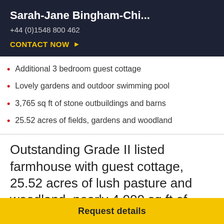Sarah-Jane Bingham-Chi...
+44 (0)1548 800 462
CONTACT NOW ▶
Additional 3 bedroom guest cottage
Lovely gardens and outdoor swimming pool
3,765 sq ft of stone outbuildings and barns
25.52 acres of fields, gardens and woodland
Outstanding Grade II listed farmhouse with guest cottage, 25.52 acres of lush pasture and woodland, nearly 4,000 sq ft of
Request details